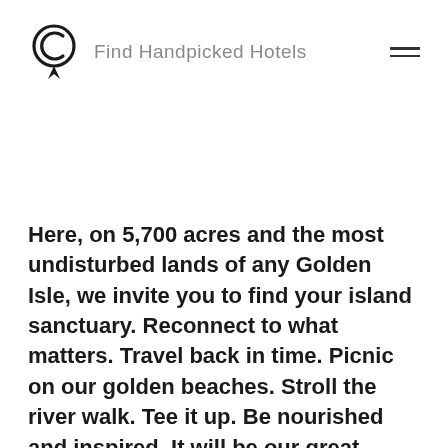Find Handpicked Hotels
Here, on 5,700 acres and the most undisturbed lands of any Golden Isle, we invite you to find your island sanctuary. Reconnect to what matters. Travel back in time. Picnic on our golden beaches. Stroll the river walk. Tee it up. Be nourished and inspired. It will be our great pleasure to help you do so.